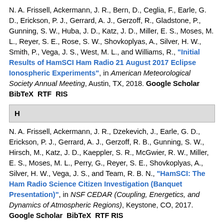N. A. Frissell, Ackermann, J. R., Bern, D., Ceglia, F., Earle, G. D., Erickson, P. J., Gerrard, A. J., Gerzoff, R., Gladstone, P., Gunning, S. W., Huba, J. D., Katz, J. D., Miller, E. S., Moses, M. L., Reyer, S. E., Rose, S. W., Shovkoplyas, A., Silver, H. W., Smith, P., Vega, J. S., West, M. L., and Williams, R., "Initial Results of HamSCI Ham Radio 21 August 2017 Eclipse Ionospheric Experiments", in American Meteorological Society Annual Meeting, Austin, TX, 2018. Google Scholar BibTeX RTF RIS
H
N. A. Frissell, Ackermann, J. R., Dzekevich, J., Earle, G. D., Erickson, P. J., Gerrard, A. J., Gerzoff, R. B., Gunning, S. W., Hirsch, M., Katz, J. D., Kaeppler, S. R., McGwier, R. W., Miller, E. S., Moses, M. L., Perry, G., Reyer, S. E., Shovkoplyas, A., Silver, H. W., Vega, J. S., and Team, R. B. N., "HamSCI: The Ham Radio Science Citizen Investigation (Banquet Presentation)", in NSF CEDAR (Coupling, Energetics, and Dynamics of Atmospheric Regions), Keystone, CO, 2017. Google Scholar BibTeX RTF RIS
N. A. Frissell, Ackermann, J. R., Earle, G. D., Erickson, P. J., Gerrard, A. J., Gerzoff, R. B., Gunning, S. W., Hirsch, M., Katz, J. D., ...